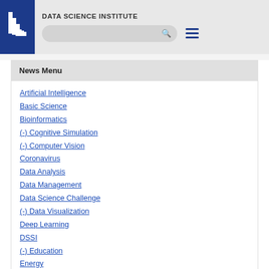[Figure (logo): Lawrence Livermore National Laboratory logo — white L-shaped lines on dark blue background]
DATA SCIENCE INSTITUTE
News Menu
Artificial Intelligence
Basic Science
Bioinformatics
(-) Cognitive Simulation
(-) Computer Vision
Coronavirus
Data Analysis
Data Management
Data Science Challenge
(-) Data Visualization
Deep Learning
DSSI
(-) Education
Energy
Events